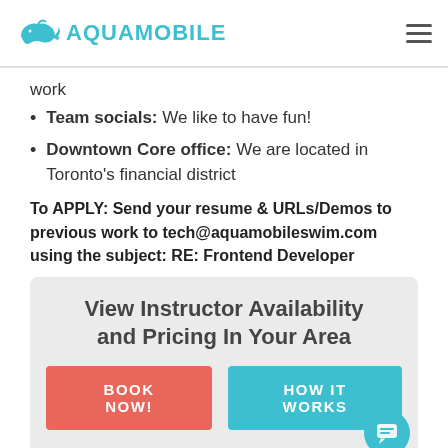AQUAMOBILE
work
Team socials: We like to have fun!
Downtown Core office: We are located in Toronto's financial district
To APPLY: Send your resume & URLs/Demos to previous work to tech@aquamobileswim.com using the subject: RE: Frontend Developer
[Figure (infographic): CTA box with heading 'View Instructor Availability and Pricing In Your Area' and two buttons: 'BOOK NOW!' (coral/red) and 'HOW IT WORKS' (teal)]